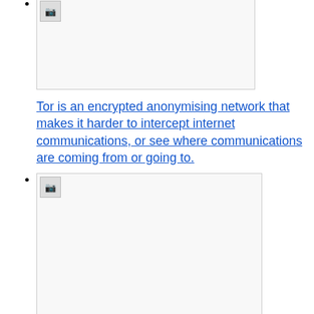[image placeholder]
Tor is an encrypted anonymising network that makes it harder to intercept internet communications, or see where communications are coming from or going to.
[image placeholder]
Tails is a live operating system, that you can start on almost any computer from a DVD, USB stick, or SD card. It aims at preserving your privacy and anonymity.